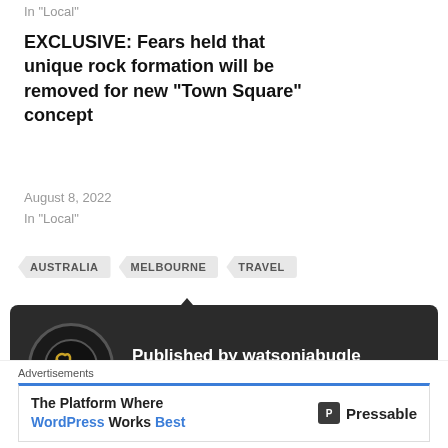In "Local"
EXCLUSIVE: Fears held that unique rock formation will be removed for new “Town Square” concept
August 8, 2022
In "Local"
AUSTRALIA
MELBOURNE
TRAVEL
[Figure (infographic): Dark box with bugle/trumpet icon and author info: Published by watsoniabugle, View all posts by watsoniabugle]
Advertisements
[Figure (infographic): Ad banner: The Platform Where WordPress Works Best | Pressable logo]